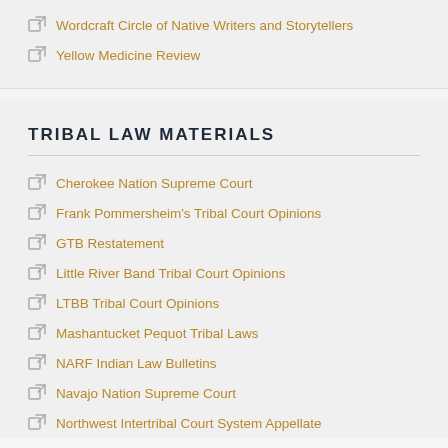Wordcraft Circle of Native Writers and Storytellers
Yellow Medicine Review
TRIBAL LAW MATERIALS
Cherokee Nation Supreme Court
Frank Pommersheim's Tribal Court Opinions
GTB Restatement
Little River Band Tribal Court Opinions
LTBB Tribal Court Opinions
Mashantucket Pequot Tribal Laws
NARF Indian Law Bulletins
Navajo Nation Supreme Court
Northwest Intertribal Court System Appellate